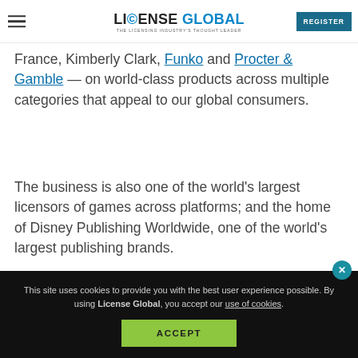LICENSE GLOBAL — THE LICENSING INDUSTRY'S THOUGHT LEADER | REGISTER
France, Kimberly Clark, Funko and Procter & Gamble — on world-class products across multiple categories that appeal to our global consumers.
The business is also one of the world's largest licensors of games across platforms; and the home of Disney Publishing Worldwide, one of the world's largest publishing brands.
This site uses cookies to provide you with the best user experience possible. By using License Global, you accept our use of cookies.